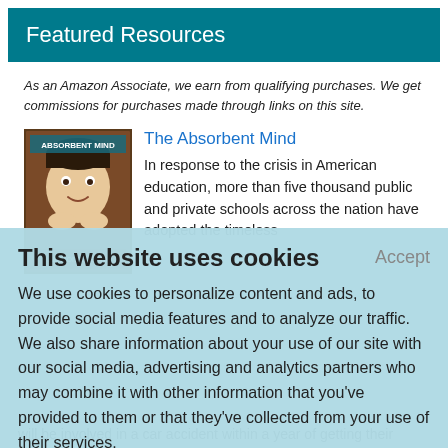Featured Resources
As an Amazon Associate, we earn from qualifying purchases. We get commissions for purchases made through links on this site.
[Figure (photo): Book cover for The Absorbent Mind showing a child's face]
The Absorbent Mind
In response to the crisis in American education, more than five thousand public and private schools across the nation have adopted the timeless
This website uses cookies
Accept
We use cookies to personalize content and ads, to provide social media features and to analyze our traffic. We also share information about your use of our site with our social media, advertising and analytics partners who may combine it with other information that you've provided to them or that they've collected from your use of their services.
Learn More.
will be involved in a car accident within a year of getting their